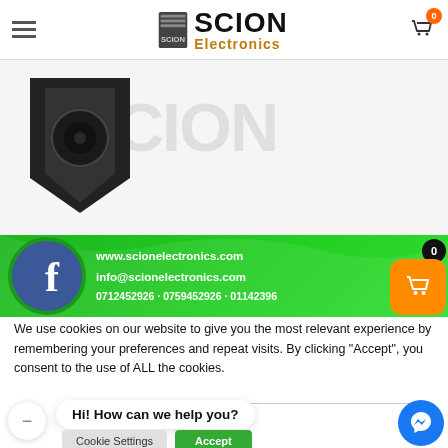Scion Electronics - navigation header with logo and cart
[Figure (photo): Product image (dark shield/speaker shape) with SCION watermark text in background]
[Figure (infographic): Green banner with Facebook logo circle, website www.scionelectronics.com, email info@scionelectronics.com, phone 0712452926 - 0759452926 - 01142396]
We use cookies on our website to give you the most relevant experience by remembering your preferences and repeat visits. By clicking "Accept", you consent to the use of ALL the cookies.
not sell my personal information.
Hi! How can we help you?
Cookie Settings   Accept